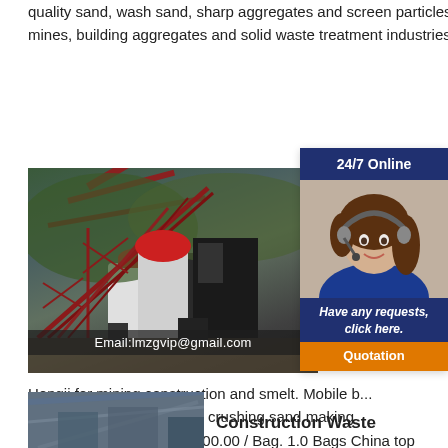quality sand, wash sand, sharp aggregates and screen particles and some other processing work in metal mines, building aggregates and solid waste treatment industries, etc.
[Figure (photo): Mining/construction machine facility with crane arms and industrial equipment, with email overlay text 'Email:lmzgvip@gmail.com']
[Figure (photo): 24/7 Online customer service sidebar with photo of woman wearing headset, text 'Have any requests, click here.' and orange Quotation button]
Ste... ma... Co... Afte... New... coa... jaw...
Hongji for mining construction and smelt. Mobile b... building materials brick tile crushing sand making machine. $5,000.00-$18,500.00 / Bag. 1.0 Bags China top supplier new type waste plastic-sand tile making machine. $10,000.00-$120,000.00 / Set. 1 Set (Min
[Figure (photo): Partial image of construction/industrial facility at bottom left]
Construction Waste